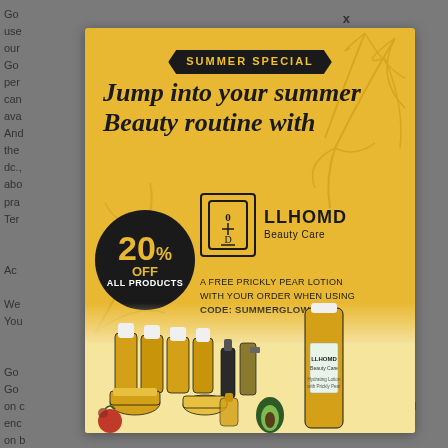Go... use... our... es. Go... nd per... can... ava... And the dc., abo... pra... Terr...
[Figure (infographic): LLHOMD Beauty Care summer special advertisement. Golden/yellow background with palm leaf decorations. Text: SUMMER SPECIAL, Jump into your summer Beauty routine with, LLHOMD Beauty Care logo. 20% OFF ALL PRODUCTS promo circle in black and gold. A FREE PRICKLY PEAR LOTION WITH YOUR ORDER WHEN USING CODE: SUMMERGLOW. Product lineup of beauty bottles and skincare items at bottom.]
Ac...
We... o You...
Go... Go... ads on c... enc... ised on b...